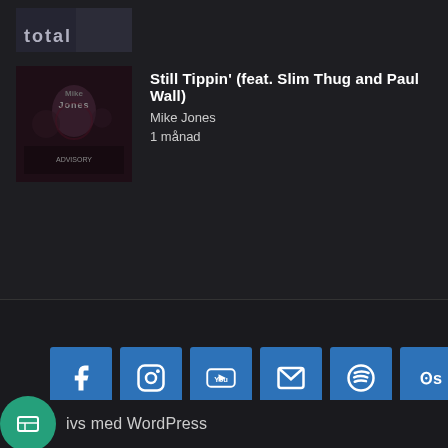[Figure (photo): Partial album art at top, cropped, with text 'total' overlay]
[Figure (photo): Mike Jones album cover - dark image with artist name]
Still Tippin' (feat. Slim Thug and Paul Wall)
Mike Jones
1 månad
[Figure (infographic): Social media icons row: Facebook, Instagram, YouTube, Email, Spotify, Last.fm — all on blue square backgrounds]
ivs med WordPress